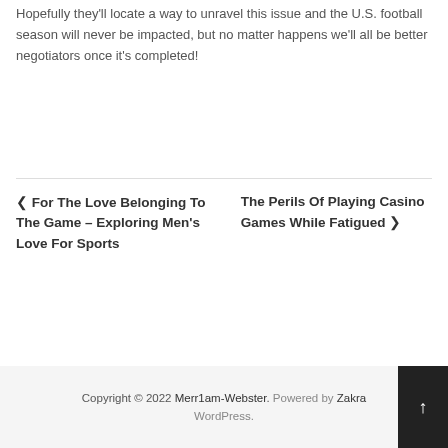Hopefully they'll locate a way to unravel this issue and the U.S. football season will never be impacted, but no matter happens we'll all be better negotiators once it's completed!
❮ For The Love Belonging To The Game – Exploring Men's Love For Sports
The Perils Of Playing Casino Games While Fatigued ❯
Copyright © 2022 Merr1am-Webster. Powered by Zakra WordPress.